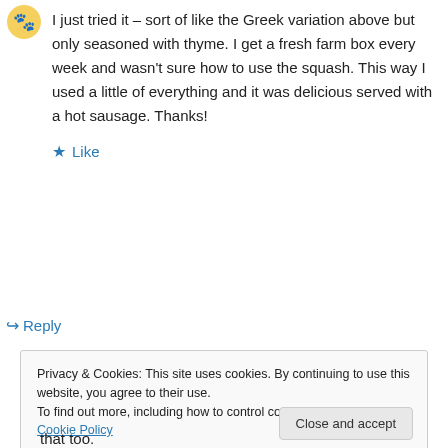[Figure (illustration): Small avatar icon — stylized orange/yellow circular badge with paw-like design]
I just tried it – sort of like the Greek variation above but only seasoned with thyme. I get a fresh farm box every week and wasn't sure how to use the squash. This way I used a little of everything and it was delicious served with a hot sausage. Thanks!
★ Like
↪ Reply
Privacy & Cookies: This site uses cookies. By continuing to use this website, you agree to their use.
To find out more, including how to control cookies, see here: Cookie Policy
Close and accept
that too.